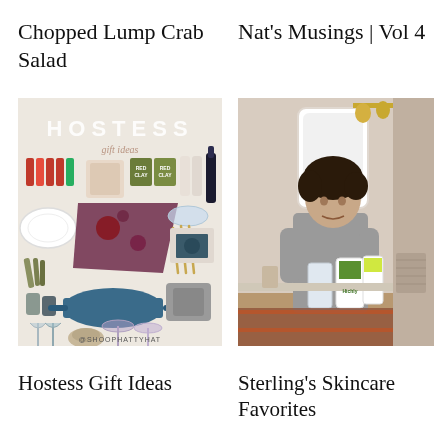Chopped Lump Crab Salad
Nat's Musings | Vol 4
[Figure (photo): Hostess gift ideas collage showing various products including hot sauces, candle, Red Clay spices, wine bottle, plates, napkins, cutlery, cookware, serving items, glassware, and bowls on a light background with text 'HOSTESS gift ideas' and @SHOOPHATTYHAT]
[Figure (photo): Young teenager in gray long-sleeve shirt standing in a bathroom, holding several skincare/personal care bottles and products, with a decorative mirror and light fixture visible in background]
Hostess Gift Ideas
Sterling's Skincare Favorites